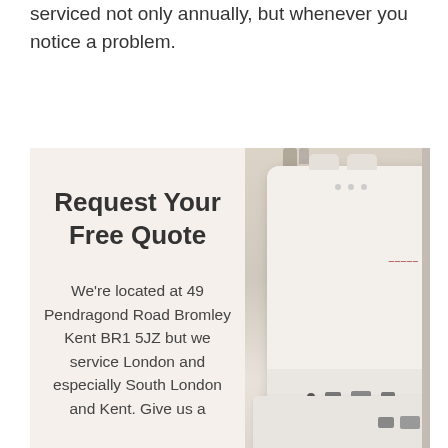serviced not only annually, but whenever you notice a problem.
Request Your Free Quote
We're located at 49 Pendragond Road Bromley Kent BR1 5JZ but we service London and especially South London and Kent. Give us a
[Figure (photo): A white wall-mounted boiler unit photographed from an angle, showing the front panel with small indicator lights, a brand logo, and a bottom control panel. A secondary white unit is visible at the bottom.]